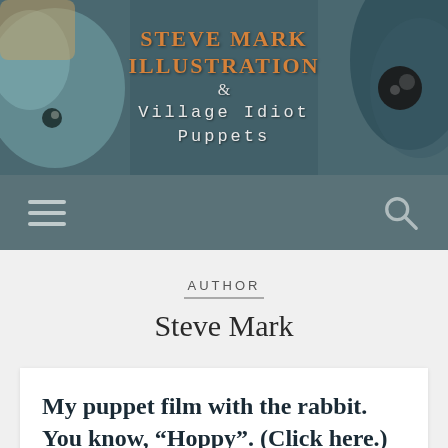[Figure (illustration): Website header banner for Steve Mark Illustration and Village Idiot Puppets. Dark teal/grey background with puppet or animal imagery (rabbit/puppet eyes visible on left and right edges). Center text shows the site title in orange and light colored fonts.]
Steve Mark Illustration & Village Idiot Puppets
AUTHOR
Steve Mark
My puppet film with the rabbit. You know, “Hoppy”. (Click here.)